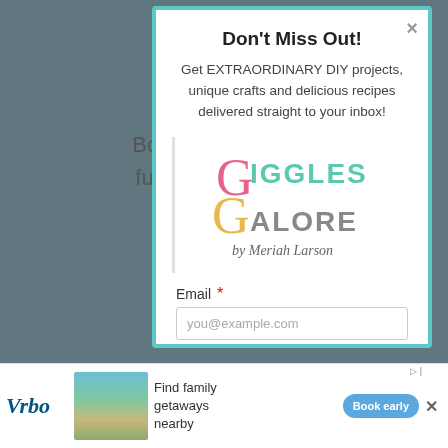Bo... ys fun... ...he
Don't Miss Out!
Get EXTRAORDINARY DIY projects, unique crafts and delicious recipes delivered straight to your inbox!
[Figure (logo): Giggles Galore by Meriah Larson logo — colorful handwritten/display font]
Email *
you@example.com
[Figure (infographic): Vrbo advertisement banner: Find family getaways nearby with Book early button]